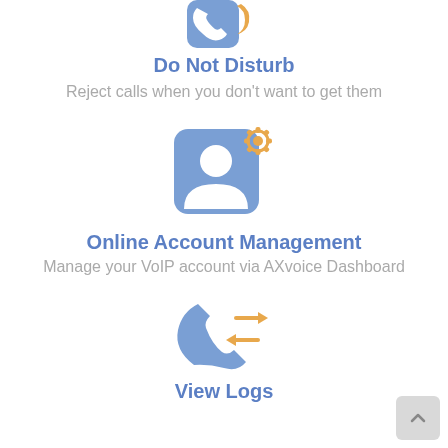[Figure (illustration): Do Not Disturb icon: blue phone with orange crescent moon]
Do Not Disturb
Reject calls when you don't want to get them
[Figure (illustration): Online Account Management icon: blue person/contact card with orange gear]
Online Account Management
Manage your VoIP account via AXvoice Dashboard
[Figure (illustration): Call transfer icon: blue phone handset with orange bidirectional arrows]
View Logs